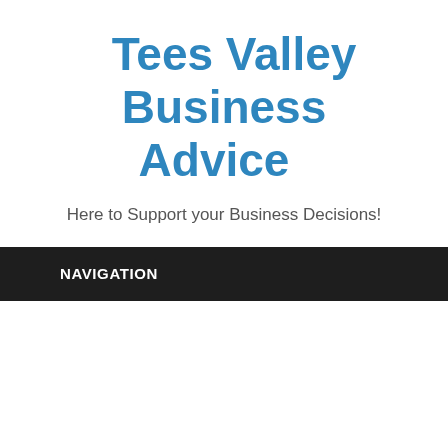Tees Valley Business Advice
Here to Support your Business Decisions!
NAVIGATION